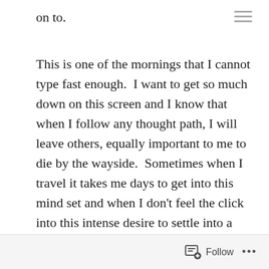on to.
This is one of the mornings that I cannot type fast enough.  I want to get so much down on this screen and I know that when I follow any thought path, I will leave others, equally important to me to die by the wayside.  Sometimes when I travel it takes me days to get into this mind set and when I don’t feel the click into this intense desire to settle into a book, journal or do some mindful exercise, I am very disappointed.  When the switch is thrown (although the mechanism is still unknown to me) quickly, I celebrate.  This morning is one of those experiences.
Follow ...